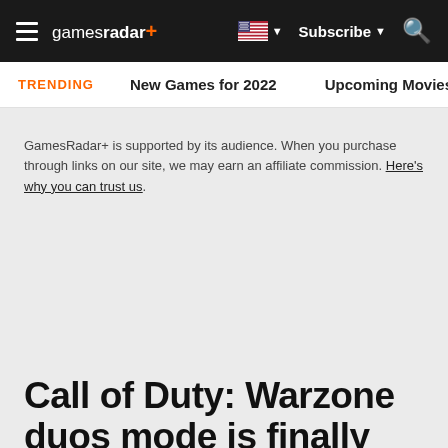gamesradar+ | Subscribe | Search
TRENDING   New Games for 2022   Upcoming Movies
GamesRadar+ is supported by its audience. When you purchase through links on our site, we may earn an affiliate commission. Here's why you can trust us.
Call of Duty: Warzone duos mode is finally here